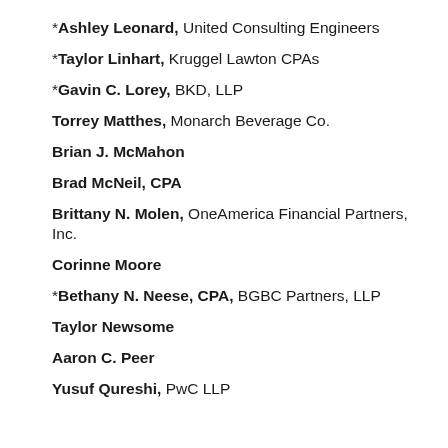*Ashley Leonard, United Consulting Engineers
*Taylor Linhart, Kruggel Lawton CPAs
*Gavin C. Lorey, BKD, LLP
Torrey Matthes, Monarch Beverage Co.
Brian J. McMahon
Brad McNeil, CPA
Brittany N. Molen, OneAmerica Financial Partners, Inc.
Corinne Moore
*Bethany N. Neese, CPA, BGBC Partners, LLP
Taylor Newsome
Aaron C. Peer
Yusuf Qureshi, PwC LLP